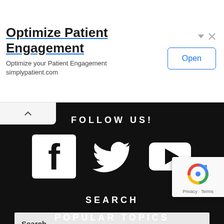[Figure (screenshot): Advertisement banner for simplypatient.com with title 'Optimize Patient Engagement', subtitle 'Optimize your Patient Engagement simplypatient.com', and an Open button]
FOLLOW US!
[Figure (logo): Facebook logo icon (white F on black square)]
[Figure (logo): Twitter bird logo icon (white bird)]
[Figure (logo): YouTube play button logo icon (white rounded rectangle with play triangle)]
SEARCH
Search..
POPULAR TOPICS